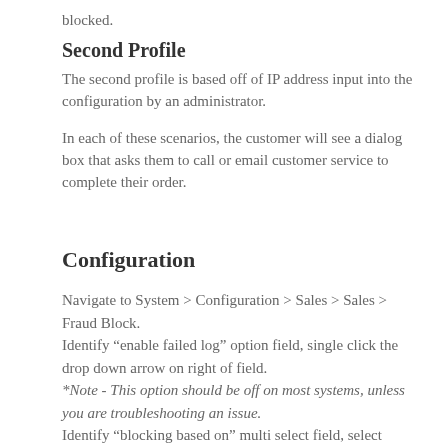blocked.
Second Profile
The second profile is based off of IP address input into the configuration by an administrator.
In each of these scenarios, the customer will see a dialog box that asks them to call or email customer service to complete their order.
Configuration
Navigate to System > Configuration > Sales > Sales > Fraud Block.
Identify “enable failed log” option field, single click the drop down arrow on right of field.
*Note - This option should be off on most systems, unless you are troubleshooting an issue.
Identify “blocking based on” multi select field, select preferred option(s). To multi select hold CTRL and click multiple options.